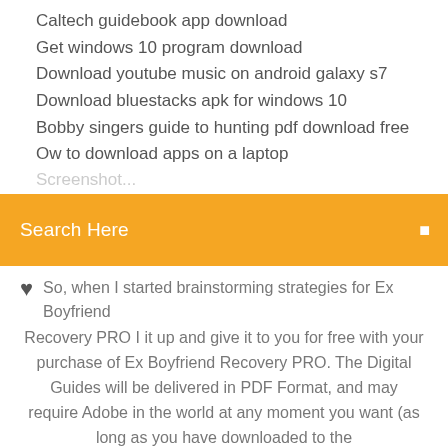Caltech guidebook app download
Get windows 10 program download
Download youtube music on android galaxy s7
Download bluestacks apk for windows 10
Bobby singers guide to hunting pdf download free
Ow to download apps on a laptop
Search Here
So, when I started brainstorming strategies for Ex Boyfriend Recovery PRO I it up and give it to you for free with your purchase of Ex Boyfriend Recovery PRO. The Digital Guides will be delivered in PDF Format, and may require Adobe in the world at any moment you want (as long as you have downloaded to the
[Figure (other): Social media icons: facebook, twitter, dribbble, behance]